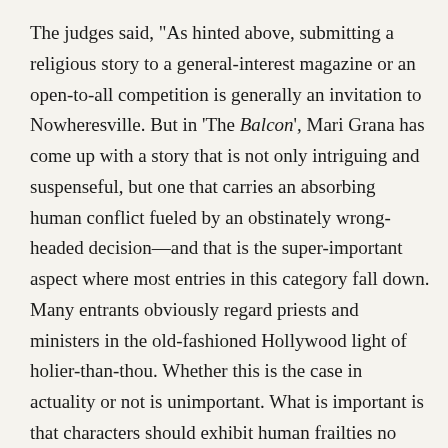The judges said, "As hinted above, submitting a religious story to a general-interest magazine or an open-to-all competition is generally an invitation to Nowheresville. But in 'The Balcon', Mari Grana has come up with a story that is not only intriguing and suspenseful, but one that carries an absorbing human conflict fueled by an obstinately wrong-headed decision—and that is the super-important aspect where most entries in this category fall down. Many entrants obviously regard priests and ministers in the old-fashioned Hollywood light of holier-than-thou. Whether this is the case in actuality or not is unimportant. What is important is that characters should exhibit human frailties no matter what their profession. Mari Grana has cleverly turned this dictum on its head by making the bishop the villain rather than the priest. Furthermore, she has astutely placed her story in Mexico where these fascinating events seem